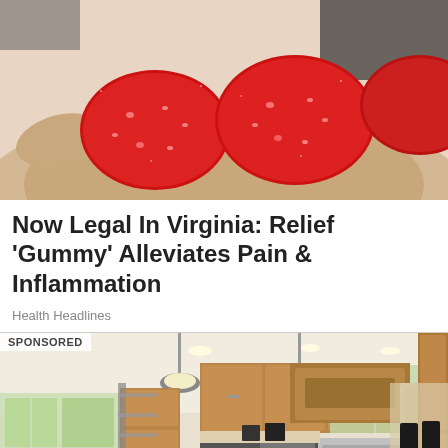[Figure (photo): Close-up photo of a hand holding red sugar-coated gummy candies]
Now Legal In Virginia: Relief 'Gummy' Alleviates Pain & Inflammation
Health Headlines
[Figure (photo): Sponsored: Photo of a modern kitchen with wooden cabinets, granite island countertop, stainless steel appliances, and pendant lighting]